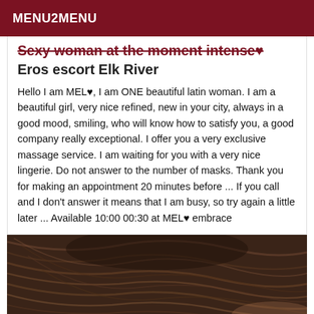MENU2MENU
Sexy woman at the moment intense♥
Eros escort Elk River
Hello I am MEL♥, I am ONE beautiful latin woman. I am a beautiful girl, very nice refined, new in your city, always in a good mood, smiling, who will know how to satisfy you, a good company really exceptional. I offer you a very exclusive massage service. I am waiting for you with a very nice lingerie. Do not answer to the number of masks. Thank you for making an appointment 20 minutes before ... If you call and I don't answer it means that I am busy, so try again a little later ... Available 10:00 00:30 at MEL♥ embrace
[Figure (photo): Photo of a woman with long dark/brown hair, viewed from behind or top-down, dark background]